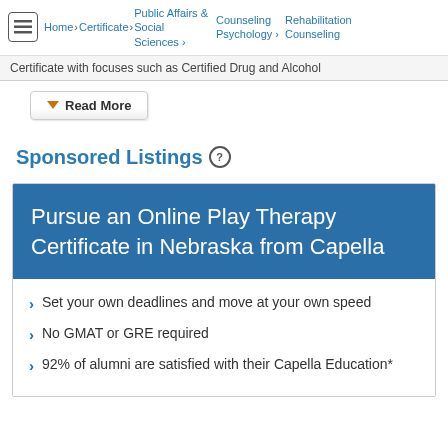Home > Certificate > Public Affairs & Social Sciences > Counseling Psychology > Rehabilitation Counseling
Certificate with focuses such as Certified Drug and Alcohol
Read More
Sponsored Listings
Pursue an Online Play Therapy Certificate in Nebraska from Capella
Set your own deadlines and move at your own speed
No GMAT or GRE required
92% of alumni are satisfied with their Capella Education*